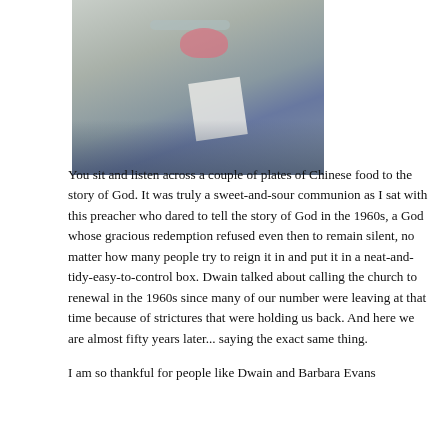[Figure (photo): A person in a grey outfit holding papers, photographed at an angle in an indoor setting.]
You sit and listen across a couple of plates of Chinese food to the story of God. It was truly a sweet-and-sour communion as I sat with this preacher who dared to tell the story of God in the 1960s, a God whose gracious redemption refused even then to remain silent, no matter how many people try to reign it in and put it in a neat-and-tidy-easy-to-control box. Dwain talked about calling the church to renewal in the 1960s since many of our number were leaving at that time because of strictures that were holding us back. And here we are almost fifty years later... saying the exact same thing.
I am so thankful for people like Dwain and Barbara Evans